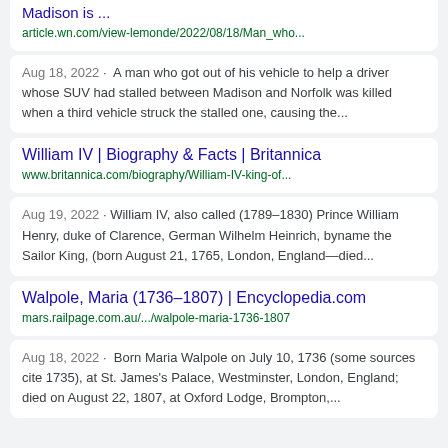Madison is ...
article.wn.com/view-lemonde/2022/08/18/Man_who...
Aug 18, 2022 · A man who got out of his vehicle to help a driver whose SUV had stalled between Madison and Norfolk was killed when a third vehicle struck the stalled one, causing the...
William IV | Biography & Facts | Britannica
www.britannica.com/biography/William-IV-king-of...
Aug 19, 2022 · William IV, also called (1789–1830) Prince William Henry, duke of Clarence, German Wilhelm Heinrich, byname the Sailor King, (born August 21, 1765, London, England—died...
Walpole, Maria (1736–1807) | Encyclopedia.com
mars.railpage.com.au/.../walpole-maria-1736-1807
Aug 18, 2022 · Born Maria Walpole on July 10, 1736 (some sources cite 1735), at St. James's Palace, Westminster, London, England; died on August 22, 1807, at Oxford Lodge, Brompton,...